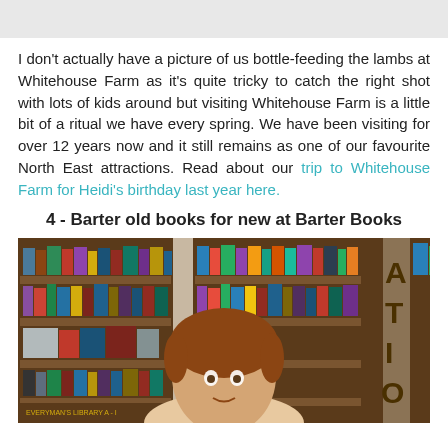[Figure (photo): Gray image placeholder at top of page]
I don't actually have a picture of us bottle-feeding the lambs at Whitehouse Farm as it's quite tricky to catch the right shot with lots of kids around but visiting Whitehouse Farm is a little bit of a ritual we have every spring. We have been visiting for over 12 years now and it still remains as one of our favourite North East attractions. Read about our trip to Whitehouse Farm for Heidi's birthday last year here.
4 - Barter old books for new at Barter Books
[Figure (photo): A child with brown hair standing in front of bookshelves at Barter Books, with a sign reading ATION (part of LOCATION or FICTION) visible and a label reading EVERYMAN'S LIBRARY A-I on a shelf]